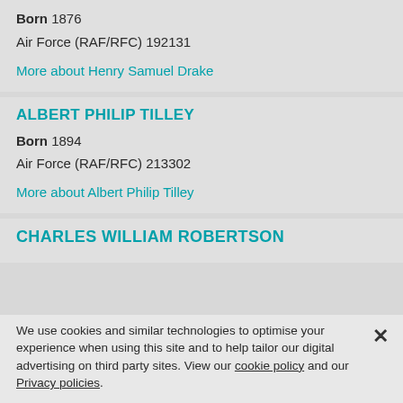Born 1876
Air Force (RAF/RFC) 192131
More about Henry Samuel Drake
ALBERT PHILIP TILLEY
Born 1894
Air Force (RAF/RFC) 213302
More about Albert Philip Tilley
CHARLES WILLIAM ROBERTSON
We use cookies and similar technologies to optimise your experience when using this site and to help tailor our digital advertising on third party sites. View our cookie policy and our Privacy policies.